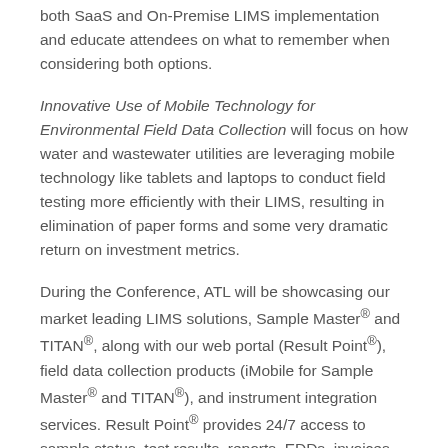both SaaS and On-Premise LIMS implementation and educate attendees on what to remember when considering both options.
Innovative Use of Mobile Technology for Environmental Field Data Collection will focus on how water and wastewater utilities are leveraging mobile technology like tablets and laptops to conduct field testing more efficiently with their LIMS, resulting in elimination of paper forms and some very dramatic return on investment metrics.
During the Conference, ATL will be showcasing our market leading LIMS solutions, Sample Master® and TITAN®, along with our web portal (Result Point®), field data collection products (iMobile for Sample Master® and TITAN®), and instrument integration services. Result Point® provides 24/7 access to sample status, test results, reports, EDDs, invoices